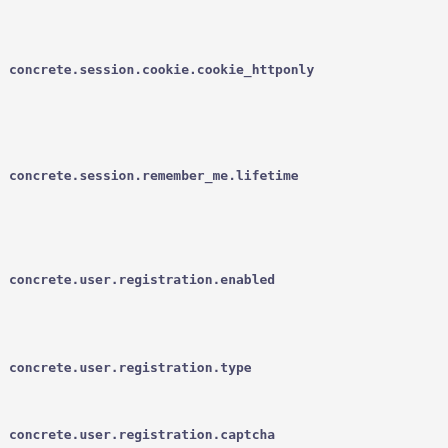concrete.session.cookie.cookie_httponly
concrete.session.remember_me.lifetime
concrete.user.registration.enabled
concrete.user.registration.type
concrete.user.registration.captcha